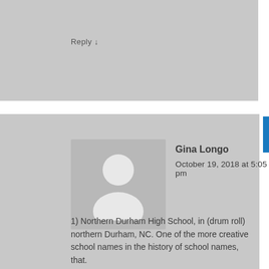Reply ↓
[Figure (illustration): User avatar placeholder: grey rounded silhouette of a person (head and shoulders) on grey background]
Gina Longo
October 19, 2018 at 5:05 pm
1) Northern Durham High School, in (drum roll) northern Durham, NC. One of the more creative school names in the history of school names, that.
2) Not one.
3) I try to write like I talk (except better, of course, because I'm an introvert who has to